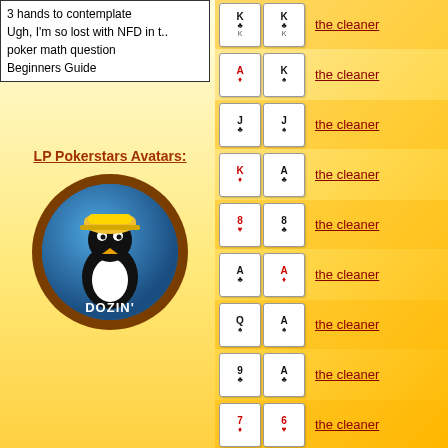3 hands to contemplate
Ugh, I'm so lost with NFD in t..
poker math question
Beginners Guide
LP Pokerstars Avatars:
[Figure (illustration): Circular avatar badge with blue background showing a bird/penguin character with yellow hard hat labeled DOZIN' in dark brown ring frame]
the cleaner (K♣ K♣)
the cleaner (A♦ K)
the cleaner (J♣ J♠)
the cleaner (K♦ A♣)
the cleaner (8♥ 8♣)
the cleaner (A♣ A♦)
the cleaner (Q♠ A♠)
the cleaner (9♣ A♣)
the cleaner (7♦ 6♥)